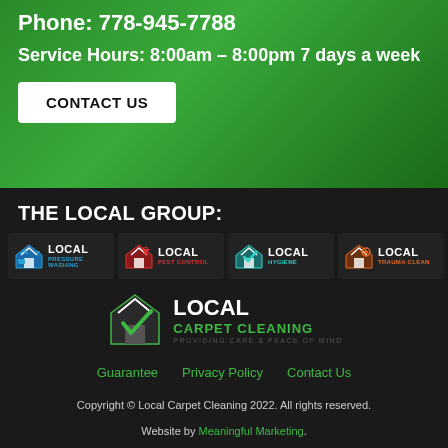Phone: 778-945-7788
Service Hours: 8:00am – 8:00pm 7 days a week
CONTACT US
THE LOCAL GROUP:
[Figure (logo): Four company logos in a row: Local Pressure Washing (blue), Local Pest Control (red), Local Hygiene (teal), Local Trauma Clean (orange)]
[Figure (logo): Local Carpet Cleaning logo with green checkmark and house icon, tagline: Providing Care & Peace of Mind]
Guarantee   Privacy Policy   Contact Us
Copyright © Local Carpet Cleaning 2022. All rights reserved.
Website by Meaningful Marketing.